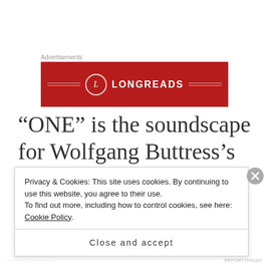Advertisements
[Figure (logo): Longreads red banner advertisement with white logo circle containing letter L and LONGREADS text in white on dark red background with horizontal decorative lines]
“ONE” is the soundscape for Wolfgang Buttress’s multi award-winning sculpture The Hive,
Privacy & Cookies: This site uses cookies. By continuing to use this website, you agree to their use.
To find out more, including how to control cookies, see here: Cookie Policy
Close and accept